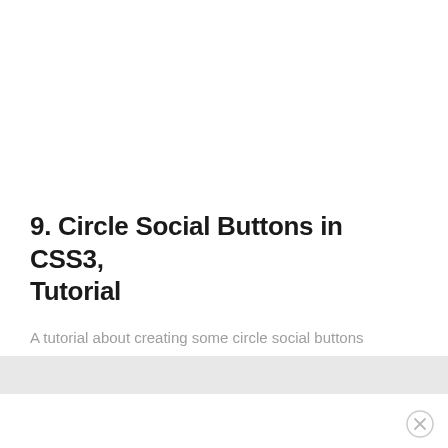9. Circle Social Buttons in CSS3, Tutorial
A tutorial about creating some circle social buttons using CSS3.
[Figure (other): Gray advertisement bar at the bottom of the page]
[Figure (other): Close button (X) circle icon in bottom-right corner]